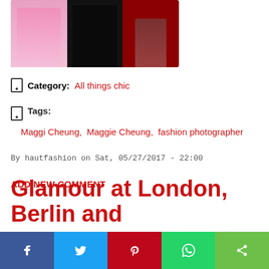[Figure (photo): Three women on a red carpet: one in a pink feathered gown, one in a black feathered dress, one in brown boots with red carpet background]
Category:  All things chic
Tags:
Maggi Cheung,  Maggie Cheung,  fashion photographer
By hautfashion on Sat, 05/27/2017 - 22:00
ADD NEW COMMENT
Glamour at London, Berlin and